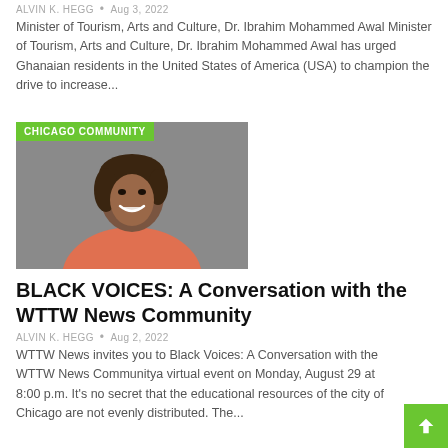ALVIN K. HEGG • Aug 3, 2022
Minister of Tourism, Arts and Culture, Dr. Ibrahim Mohammed Awal Minister of Tourism, Arts and Culture, Dr. Ibrahim Mohammed Awal has urged Ghanaian residents in the United States of America (USA) to champion the drive to increase...
[Figure (photo): Portrait photo of a woman smiling, wearing a coral/orange blazer, with a gray background. A green label 'CHICAGO COMMUNITY' overlays the top-left corner.]
BLACK VOICES: A Conversation with the WTTW News Community
ALVIN K. HEGG • Aug 2, 2022
WTTW News invites you to Black Voices: A Conversation with the WTTW News Communitya virtual event on Monday, August 29 at 8:00 p.m. It's no secret that the educational resources of the city of Chicago are not evenly distributed. The...